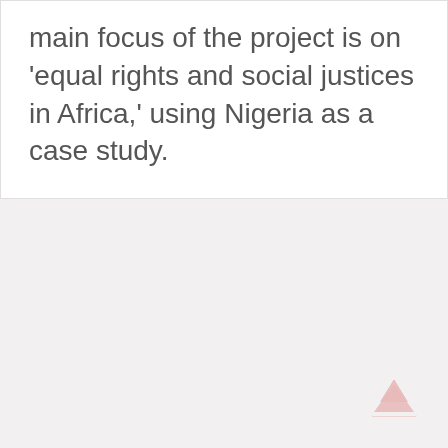main focus of the project is on 'equal rights and social justices in Africa,' using Nigeria as a case study.